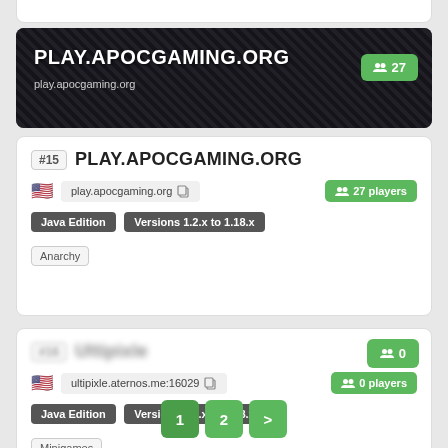[Figure (screenshot): Banner card for PLAY.APOCGAMING.ORG server with dark keyboard background, server title in white bold text, address play.apocgaming.org, and green player count badge showing 27]
#15 PLAY.APOCGAMING.ORG
play.apocgaming.org | 27 players | Java Edition | Versions 1.2.x to 1.18.x
Anarchy
#16 Ultipixle
ultipixle.aternos.me:16029 | 0 players | Java Edition | Versions 1.2.x to 1.18.x
Minigames
1  2  >